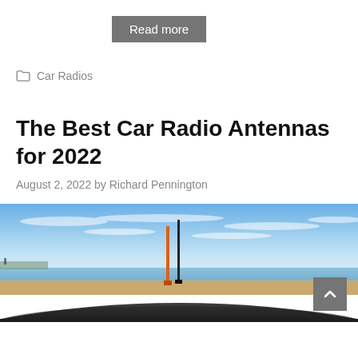Read more
Car Radios
The Best Car Radio Antennas for 2022
August 2, 2022 by Richard Pennington
[Figure (photo): View from inside a car showing two car radio antennas on the roof/hood against a coastal background with blue sky, light clouds, sandy beach, and distant water.]